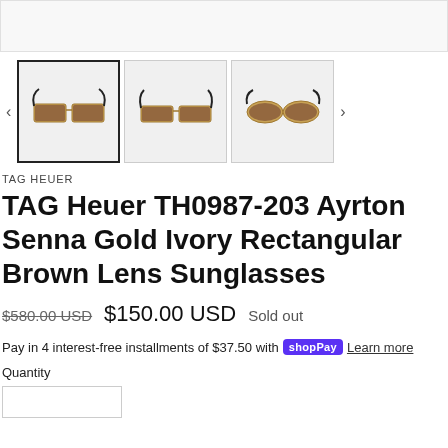[Figure (photo): Top cropped product image area of sunglasses (partially visible)]
[Figure (photo): Three thumbnail images of TAG Heuer TH0987-203 Ayrton Senna Gold Ivory sunglasses from different angles; first thumbnail selected with bold border]
TAG HEUER
TAG Heuer TH0987-203 Ayrton Senna Gold Ivory Rectangular Brown Lens Sunglasses
$580.00 USD  $150.00 USD  Sold out
Pay in 4 interest-free installments of $37.50 with Shop Pay  Learn more
Quantity